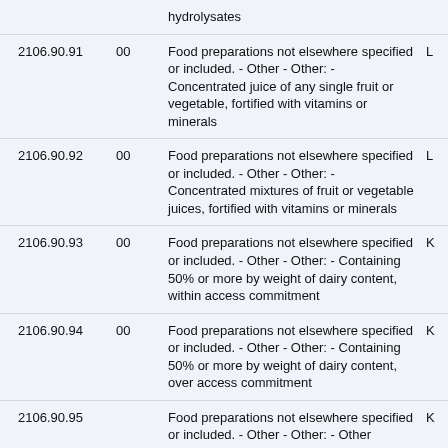|  |  | Description |  |
| --- | --- | --- | --- |
|  |  | hydrolysates |  |
| 2106.90.91 | 00 | Food preparations not elsewhere specified or included. - Other - Other: - Concentrated juice of any single fruit or vegetable, fortified with vitamins or minerals | L |
| 2106.90.92 | 00 | Food preparations not elsewhere specified or included. - Other - Other: - Concentrated mixtures of fruit or vegetable juices, fortified with vitamins or minerals | L |
| 2106.90.93 | 00 | Food preparations not elsewhere specified or included. - Other - Other: - Containing 50% or more by weight of dairy content, within access commitment | K |
| 2106.90.94 | 00 | Food preparations not elsewhere specified or included. - Other - Other: - Containing 50% or more by weight of dairy content, over access commitment | K |
| 2106.90.95 |  | Food preparations not elsewhere specified or included. - Other - Other: - Other preparations, containing, in the dry state, over 10% by weight of milk solids but less than 50% by weight of dairy content | K |
|  |  | Food preparations not elsewhere specified or included. - Other - Other: - Other preparations, |  |